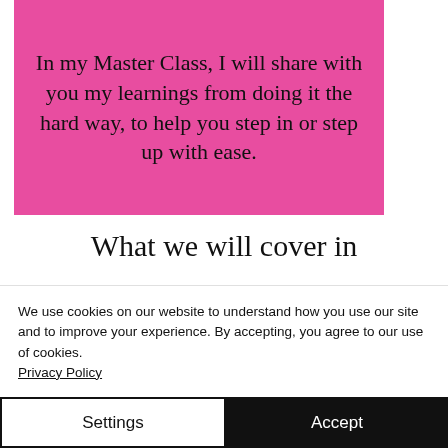[Figure (illustration): Pink/magenta background image with a person and text overlay reading: In my Master Class, I will share with you my learnings from doing it the hard way, to help you step in or step up with ease.]
What we will cover in
We use cookies on our website to understand how you use our site and to improve your experience. By accepting, you agree to our use of cookies. Privacy Policy
Settings
Accept